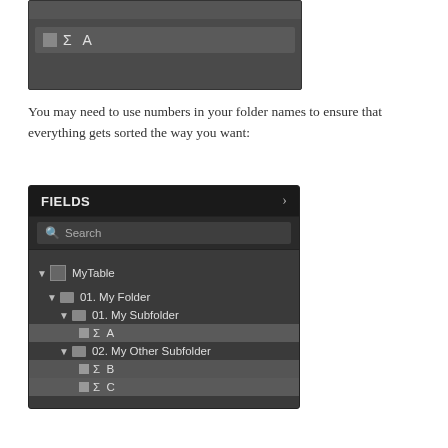[Figure (screenshot): Dark UI panel showing a measure row with white square icon, sigma symbol and letter A]
You may need to use numbers in your folder names to ensure that everything gets sorted the way you want:
[Figure (screenshot): Power BI Fields panel showing a tree structure: FIELDS header with search box, MyTable expanded with 01. My Folder > 01. My Subfolder containing measure A (highlighted), and 02. My Other Subfolder containing measures B and C]